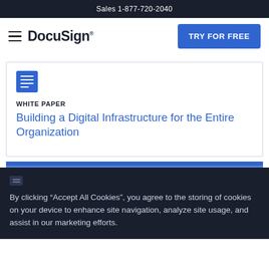Sales 1-877-720-2040
[Figure (logo): DocuSign logo with hamburger menu and TRY FOR FREE button]
[Figure (illustration): Document icon (blue square with white lines representing a document)]
WHITE PAPER
Building a Digital Infrastructure for the Entire Organization
By clicking “Accept All Cookies”, you agree to the storing of cookies on your device to enhance site navigation, analyze site usage, and assist in our marketing efforts.